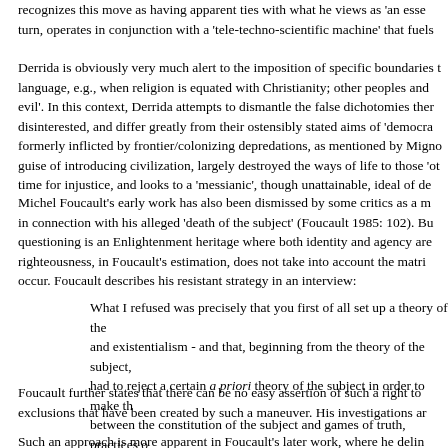recognizes this move as having apparent ties with what he views as 'an esse turn, operates in conjunction with a 'tele-techno-scientific machine' that fuels
Derrida is obviously very much alert to the imposition of specific boundaries t language, e.g., when religion is equated with Christianity; other peoples and evil'. In this context, Derrida attempts to dismantle the false dichotomies ther disinterested, and differ greatly from their ostensibly stated aims of 'democra formerly inflicted by frontier/colonizing depredations, as mentioned by Migno guise of introducing civilization, largely destroyed the ways of life to those 'ot time for injustice, and looks to a 'messianic', though unattainable, ideal of de
Michel Foucault's early work has also been dismissed by some critics as a m in connection with his alleged 'death of the subject' (Foucault 1985: 102). Bu questioning is an Enlightenment heritage where both identity and agency are righteousness, in Foucault's estimation, does not take into account the matri occur. Foucault describes his resistant strategy in an interview:
What I refused was precisely that you first of all set up a theory of the and existentialism - and that, beginning from the theory of the subject, had to reject a certain a priori theory of the subject in order to make th between the constitution of the subject and games of truth, practices o Rasmussen 1988: 10).
Foucault further states that there can be no easy assertion of such a right to exclusions that have been created by such a maneuver. His investigations ar have been silenced in order for a single self-prepossessing subject to emerg there is subjectivity. Instead, he demonstrates the abuses that can occur whe and control. His intention is to encourage more self-reflexivity concerning the multiple influences. These, in turn, are inevitably determined by specific inter
Such an approach is more apparent in Foucault's later work, where he delin